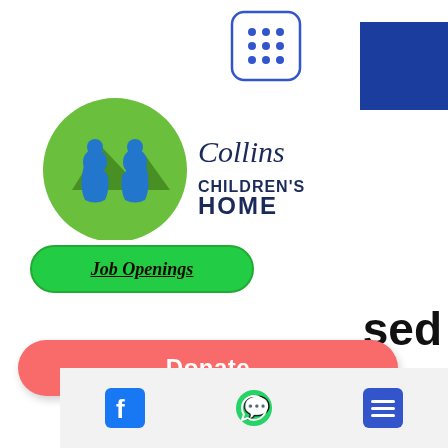[Figure (logo): Grid/apps icon with rounded square border, blue dots 3x3 pattern]
[Figure (illustration): Blue square block, top right corner]
[Figure (logo): Collins Children's Home logo: two blue silhouette children sitting back to back inside green circle with mountain, text 'Collins CHILDREN'S HOME']
[Figure (other): Green rounded rectangle button with italic bold underlined text 'Job Openings']
sed
[Figure (other): Red/coral rounded rectangle Donate button with white bold text 'Donate']
P.O. Box 745
Seneca, SC 29679
864-882-0893
or us
le
ome.
article
[Figure (other): Bottom bar with Facebook icon, WhatsApp icon, and menu/list icon on light gray background]